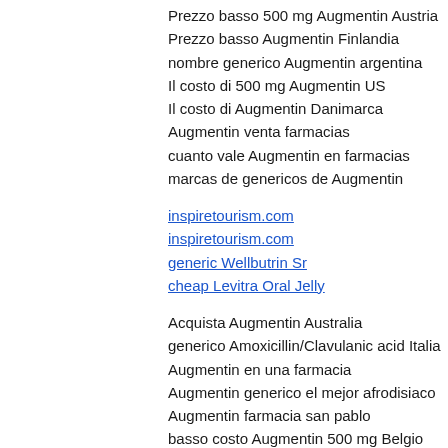Prezzo basso 500 mg Augmentin Austria
Prezzo basso Augmentin Finlandia
nombre generico Augmentin argentina
Il costo di 500 mg Augmentin US
Il costo di Augmentin Danimarca
Augmentin venta farmacias
cuanto vale Augmentin en farmacias
marcas de genericos de Augmentin
inspiretourism.com
inspiretourism.com
generic Wellbutrin Sr
cheap Levitra Oral Jelly
Acquista Augmentin Australia
generico Amoxicillin/Clavulanic acid Italia
Augmentin en una farmacia
Augmentin generico el mejor afrodisiaco
Augmentin farmacia san pablo
basso costo Augmentin 500 mg Belgio
generico Augmentin Italia
generico Amoxicillin/Clavulanic acid Cheap